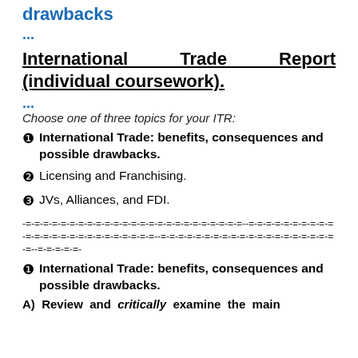drawbacks
...
International Trade Report (individual coursework)
...
Choose one of three topics for your ITR:
❶  International Trade: benefits, consequences and possible drawbacks.
❷ Licensing and Franchising.
❸ JVs, Alliances, and FDI.
-=-=-=-=-=-=-=-=-=-=-=-=-=-=-=-=-=-=-=-=-=-=-=-=-=--=-=-=-=-=-=-=-=-=-=-=-=-=-=-=-=-=-=-=-=-=-=-=-=-=--=-=-=-=-=-=-=-=-=-=-=-=-=-=-=-=-=-=-=-=-=--=-=-=-=-=-
❶  International Trade: benefits, consequences and possible drawbacks.
A)  Review  and  critically  examine  the  main